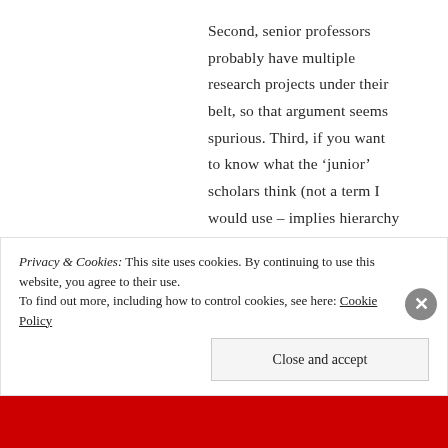Second, senior professors probably have multiple research projects under their belt, so that argument seems spurious. Third, if you want to know what the 'junior' scholars think (not a term I would use – implies hierarchy of not only status but opinions) ask them. Convene some panels at an ISA and ask them. And when you do I'm
Privacy & Cookies: This site uses cookies. By continuing to use this website, you agree to their use. To find out more, including how to control cookies, see here: Cookie Policy
Close and accept